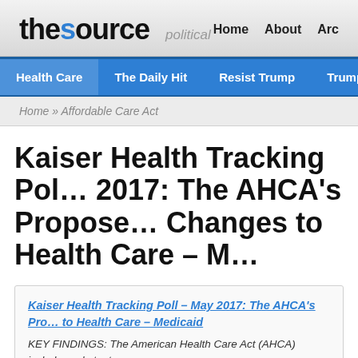thesource political | Home | About | Arc
Health Care | The Daily Hit | Resist Trump | Trump » | energy
Home » Affordable Care Act
Kaiser Health Tracking Poll – May 2017: The AHCA's Proposed Changes to Health Care – Medicaid
Kaiser Health Tracking Poll – May 2017: The AHCA's Proposed Changes to Health Care – Medicaid
KEY FINDINGS: The American Health Care Act (AHCA) includes substant…